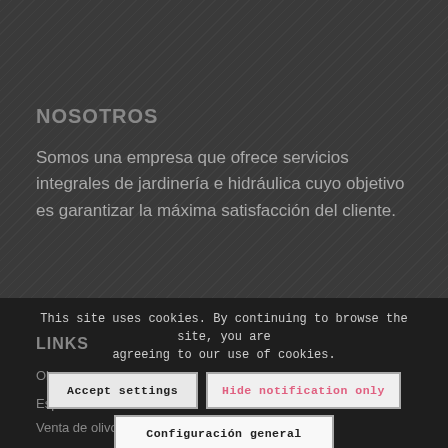NOSOTROS
Somos una empresa que ofrece servicios integrales de jardinería e hidráulica cuyo objetivo es garantizar la máxima satisfacción del cliente.
LINKS
Obras
Espacios
Venta de olivos
This site uses cookies. By continuing to browse the site, you are agreeing to our use of cookies.
Accept settings
Hide notification only
Configuración general